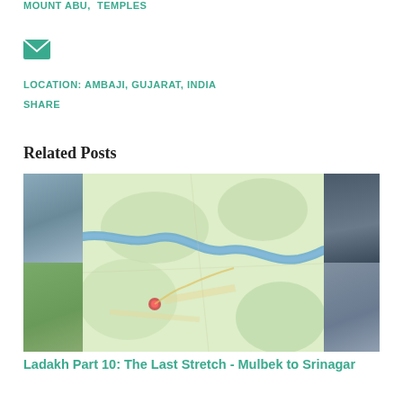MOUNT ABU, TEMPLES
[Figure (other): Email/envelope icon in teal]
LOCATION: AMBAJI, GUJARAT, INDIA
SHARE
Related Posts
[Figure (map): A map image showing a river route, likely the Ladakh region road route from Mulbek to Srinagar, with terrain details and a blue river winding through green landscape. Side panels show mountain and landscape photos.]
Ladakh Part 10: The Last Stretch - Mulbek to Srinagar